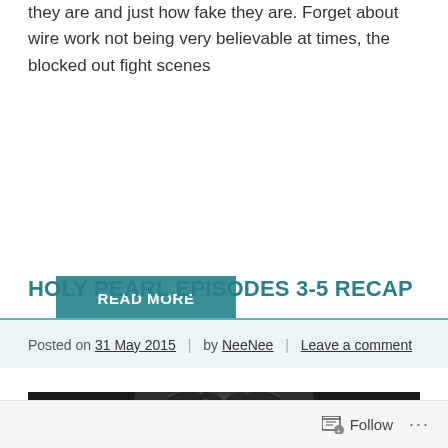they are and just how fake they are. Forget about wire work not being very believable at times, the blocked out fight scenes
READ MORE
Recap
HOLY PEARL EPISODES 3-5 RECAP
Posted on 31 May 2015 | by NeeNee | Leave a comment
[Figure (photo): Dark close-up photo of a person in ornate costume/headdress, partially cropped at bottom of page]
Follow ···